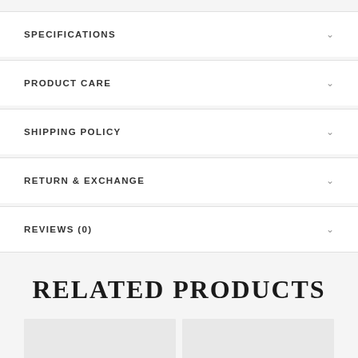SPECIFICATIONS
PRODUCT CARE
SHIPPING POLICY
RETURN & EXCHANGE
REVIEWS (0)
RELATED PRODUCTS